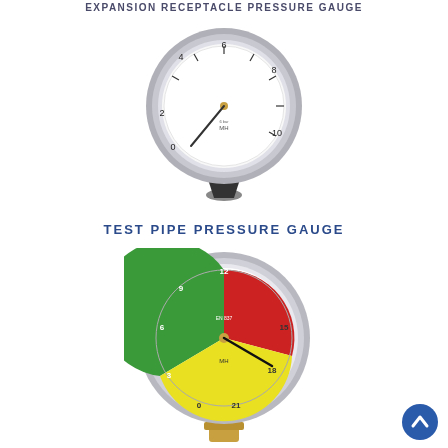EXPANSION RECEPTACLE PRESSURE GAUGE
[Figure (photo): Expansion receptacle pressure gauge with white dial face showing numbers 2, 6, 8, 10, scale 0-10 bar, gold/brass bottom fitting, black rubber cone-shaped bottom mount, needle pointing near 0]
TEST PIPE PRESSURE GAUGE
[Figure (photo): Test pipe pressure gauge with colored dial face (green, red, yellow zones), chrome metal casing, showing pressure scale, brass threaded bottom fitting, needle indicator, EN certification mark visible on dial]